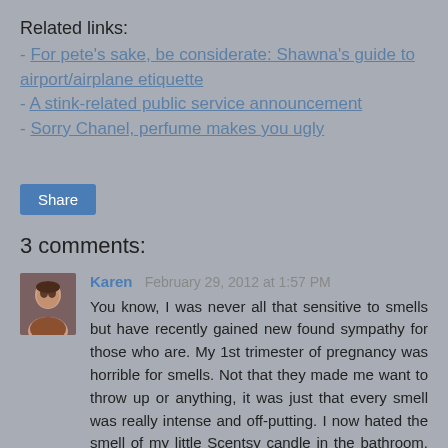Related links:
- For pete's sake, be considerate: Shawna's guide to airport/airplane etiquette
- A stink-related public service announcement
- Sorry Chanel, perfume makes you ugly
Share
3 comments:
Karen  February 29, 2012 at 1:57 PM
You know, I was never all that sensitive to smells but have recently gained new found sympathy for those who are. My 1st trimester of pregnancy was horrible for smells. Not that they made me want to throw up or anything, it was just that every smell was really intense and off-putting. I now hated the smell of my little Scentsy candle in the bathroom, hand